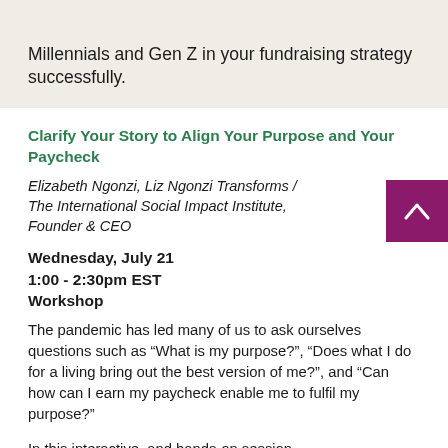Millennials and Gen Z in your fundraising strategy successfully.
Clarify Your Story to Align Your Purpose and Your Paycheck
Elizabeth Ngonzi, Liz Ngonzi Transforms / The International Social Impact Institute, Founder & CEO
Wednesday, July 21
1:00 - 2:30pm EST
Workshop
The pandemic has led many of us to ask ourselves questions such as “What is my purpose?”, “Does what I do for a living bring out the best version of me?”, and “Can how can I earn my paycheck enable me to fulfil my purpose?”
In this interactive, and hands-on session,